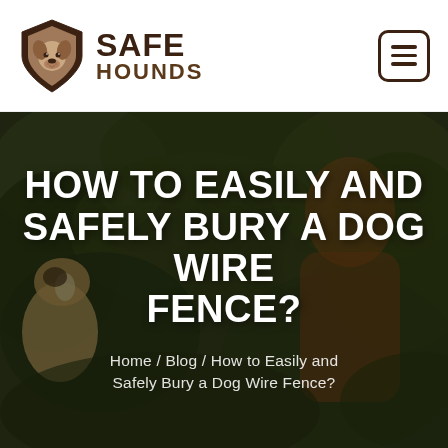[Figure (logo): Safe Hounds logo: shield shape with illustrated dog head (hound) inside, brown tones, beside bold text SAFE HOUNDS]
[Figure (other): Hamburger menu icon — three horizontal lines inside a rounded square border, dark brown color]
[Figure (photo): Hero background photo of dogs outdoors with green foliage, with dark overlay. A beagle is visible on the left side.]
HOW TO EASILY AND SAFELY BURY A DOG WIRE FENCE?
Home / Blog / How to Easily and Safely Bury a Dog Wire Fence?